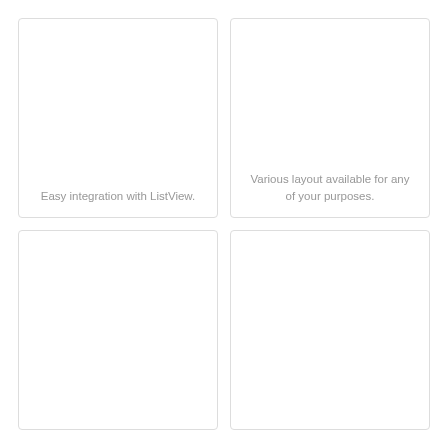[Figure (illustration): Empty card panel, top-left, with text caption at bottom: Easy integration with ListView.]
Easy integration with ListView.
[Figure (illustration): Empty card panel, top-right, with text caption at bottom: Various layout available for any of your purposes.]
Various layout available for any of your purposes.
[Figure (illustration): Empty card panel, bottom-left, no caption visible.]
[Figure (illustration): Empty card panel, bottom-right, no caption visible.]